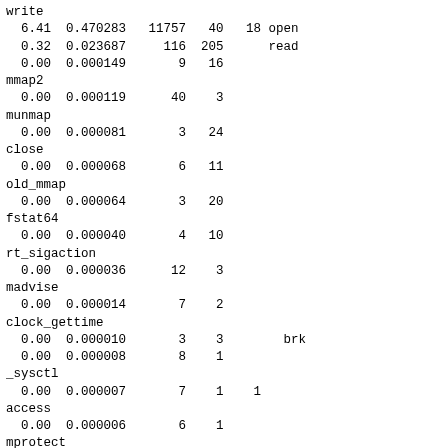write
  6.41  0.470283   11757   40   18 open
  0.32  0.023687     116  205      read
  0.00  0.000149       9   16
mmap2
  0.00  0.000119      40    3
munmap
  0.00  0.000081       3   24
close
  0.00  0.000068       6   11
old_mmap
  0.00  0.000064       3   20
fstat64
  0.00  0.000040       4   10
rt_sigaction
  0.00  0.000036      12    3
madvise
  0.00  0.000014       7    2
clock_gettime
  0.00  0.000010       3    3        brk
  0.00  0.000008       8    1
_sysctl
  0.00  0.000007       7    1    1
access
  0.00  0.000006       6    1
mprotect
  0.00  0.000005       5    1
futex
  0.00  0.000004       4    1
uname
  0.00  0.000004       4    1